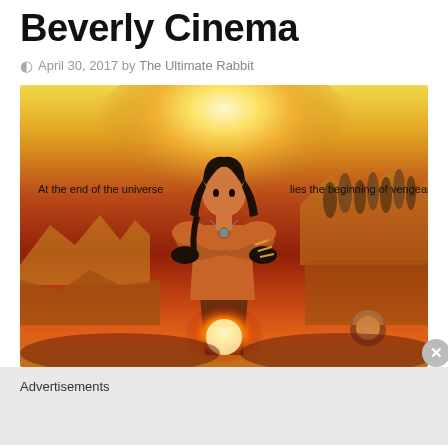Beverly Cinema
April 30, 2017 by The Ultimate Rabbit
[Figure (illustration): Movie poster illustration: a warrior figure with crossed arms stands center against a dramatic orange/yellow sky. Tagline reads 'At the end of the universe lies the beginning of vengeance.' Robed figures visible in background right, rocks on sides, fire/explosion at bottom center, small helmeted figure bottom right.]
Advertisements